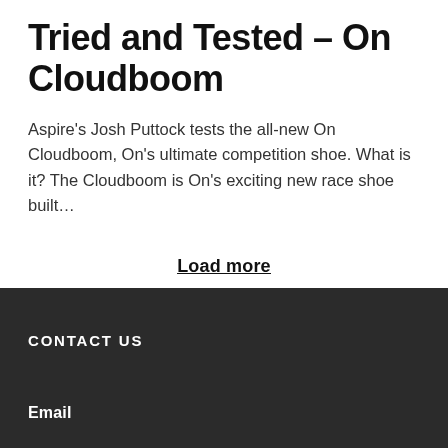Tried and Tested – On Cloudboom
Aspire's Josh Puttock tests the all-new On Cloudboom, On's ultimate competition shoe. What is it? The Cloudboom is On's exciting new race shoe built…
Load more
CONTACT US
Email